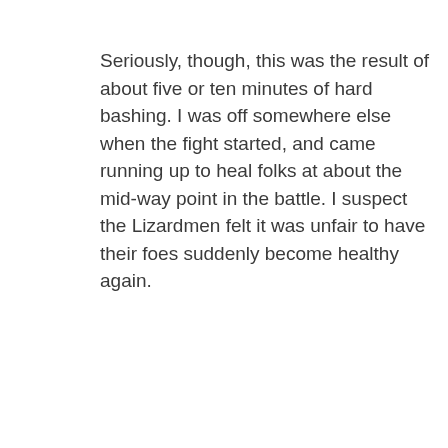Seriously, though, this was the result of about five or ten minutes of hard bashing. I was off somewhere else when the fight started, and came running up to heal folks at about the mid-way point in the battle. I suspect the Lizardmen felt it was unfair to have their foes suddenly become healthy again.